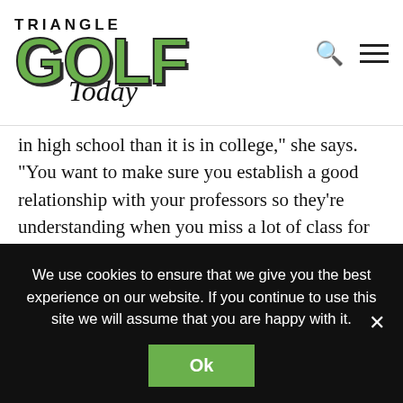[Figure (logo): Triangle Golf Today logo with large green GOLF text and script Today]
in high school than it is in college,” she says. “You want to make sure you establish a good relationship with your professors so they’re understanding when you miss a lot of class for your sport.”
With so much time devoted to golf and academics, Migliaccio has precious few hours for the traditional college experience. Most of her independence and social
We use cookies to ensure that we give you the best experience on our website. If you continue to use this site we will assume that you are happy with it.